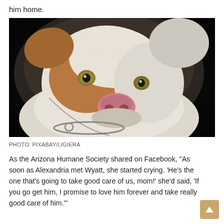him home.
[Figure (photo): Close-up photo of a white and brown pit bull dog with yellow-green eyes wearing a chain collar, looking at the camera with a tilted head. Dark background.]
PHOTO: PIXABAY/LIGIERA
As the Arizona Humane Society shared on Facebook, "As soon as Alexandria met Wyatt, she started crying. 'He's the one that's going to take good care of us, mom!' she'd said, 'If you go get him, I promise to love him forever and take really good care of him.'"